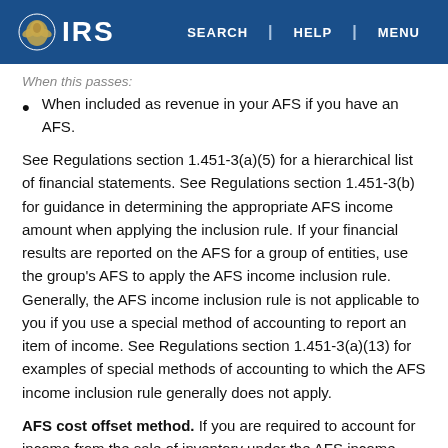IRS | SEARCH | HELP | MENU
When included as revenue in your AFS if you have an AFS.
See Regulations section 1.451-3(a)(5) for a hierarchical list of financial statements. See Regulations section 1.451-3(b) for guidance in determining the appropriate AFS income amount when applying the inclusion rule. If your financial results are reported on the AFS for a group of entities, use the group's AFS to apply the AFS income inclusion rule. Generally, the AFS income inclusion rule is not applicable to you if you use a special method of accounting to report an item of income. See Regulations section 1.451-3(a)(13) for examples of special methods of accounting to which the AFS income inclusion rule generally does not apply.
AFS cost offset method. If you are required to account for income from the sale of inventory under the AFS income inclusion rule, you may be eligible to elect the AFS cost offset method. This method allows you to reduce the